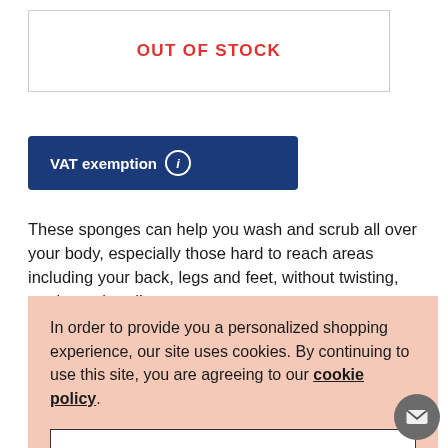OUT OF STOCK
VAT exemption ℹ
These sponges can help you wash and scrub all over your body, especially those hard to reach areas including your back, legs and feet, without twisting, turning or bending.
Suitable for men and women of every skin type including ... long handled ... xins and stimulate
ne 2 pack?
ith Pumice
pumice for hard
skin
In order to provide you a personalized shopping experience, our site uses cookies. By continuing to use this site, you are agreeing to our cookie policy.
ACCEPT